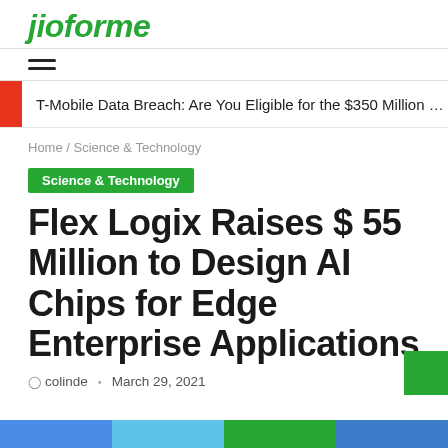jioforme
T-Mobile Data Breach: Are You Eligible for the $350 Million S...
Home / Science & Technology
Science & Technology
Flex Logix Raises $ 55 Million to Design AI Chips for Edge Enterprise Applications
colinde  •  March 29, 2021